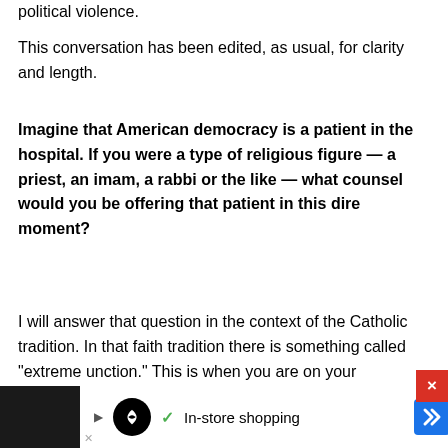political violence.
This conversation has been edited, as usual, for clarity and length.
Imagine that American democracy is a patient in the hospital. If you were a type of religious figure — a priest, an imam, a rabbi or the like — what counsel would you be offering that patient in this dire moment?
I will answer that question in the context of the Catholic tradition. In that faith tradition there is something called "extreme unction." This is when you are on your
In-store shopping